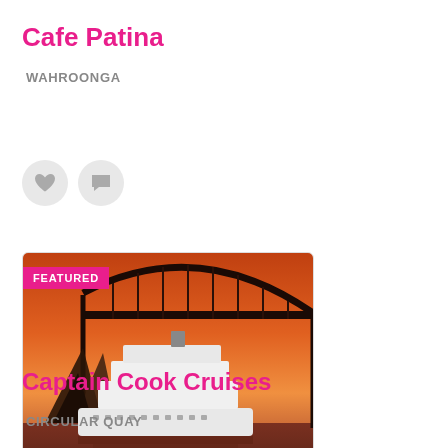Cafe Patina
WAHROONGA
[Figure (other): Heart icon and comment bubble icon in gray circles]
[Figure (photo): Photo of a luxury cruise ship on Sydney Harbour at sunset with the Sydney Opera House and Harbour Bridge silhouetted in orange sky, with FEATURED badge overlay]
Captain Cook Cruises
CIRCULAR QUAY